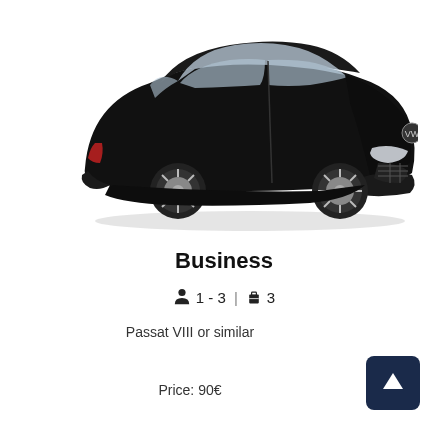[Figure (photo): Black Volkswagen Passat VIII sedan shown from a three-quarter front-left angle on white background]
Business
1 - 3 | 3
Passat VIII or similar
Price: 90€